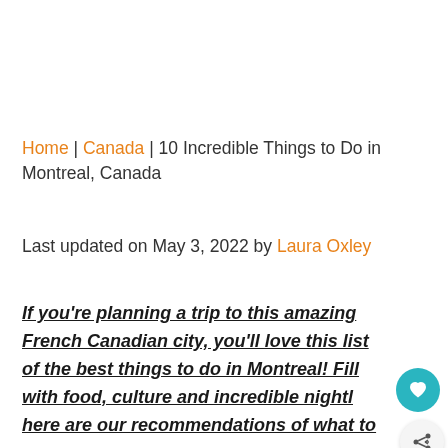Home | Canada | 10 Incredible Things to Do in Montreal, Canada
Last updated on May 3, 2022 by Laura Oxley
If you're planning a trip to this amazing French Canadian city, you'll love this list of the best things to do in Montreal! Fill with food, culture and incredible nightl here are our recommendations of what to